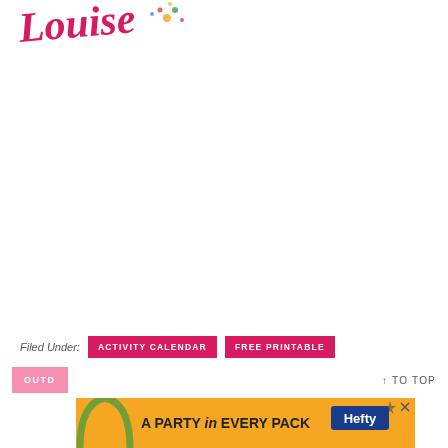[Figure (logo): Stylized cursive 'Louise' logo in pink/magenta with colorful floral/confetti decoration]
Filed Under: ACTIVITY CALENDAR  FREE PRINTABLE
OUTD
TO TOP
[Figure (infographic): Orange advertisement banner for Hefty brand: 'A PARTY in EVERY PACK' with decorative arch graphic and Hefty logo]